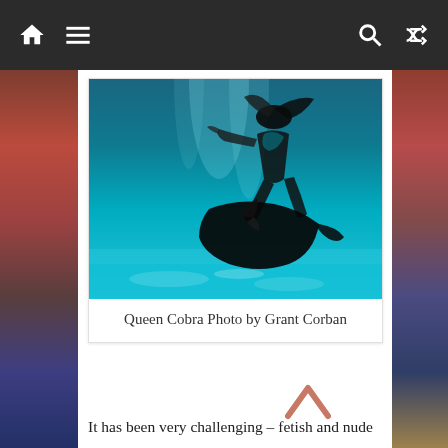Navigation bar with home, menu, search, and shuffle icons
[Figure (photo): Underwater photograph showing a figure swimming, with blue water and light reflections, silhouette effect]
Queen Cobra Photo by Grant Corban
It has been very challenging – fetish and nude